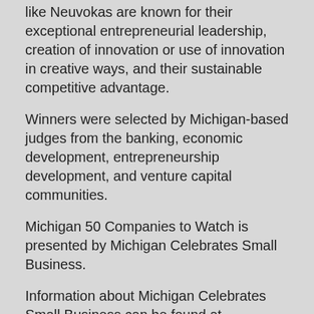like Neuvokas are known for their exceptional entrepreneurial leadership, creation of innovation or use of innovation in creative ways, and their sustainable competitive advantage.
Winners were selected by Michigan-based judges from the banking, economic development, entrepreneurship development, and venture capital communities.
Michigan 50 Companies to Watch is presented by Michigan Celebrates Small Business.
Information about Michigan Celebrates Small Business can be found at www.MichiganCelebrates.biz.
To download PDF version of this press release, click here.